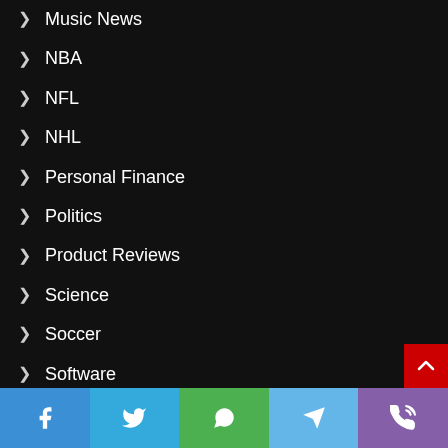Music News
NBA
NFL
NHL
Personal Finance
Politics
Product Reviews
Science
Soccer
Software
software
Spirituality
Sports
Sports
Facebook | Twitter | WhatsApp | Telegram | Viber